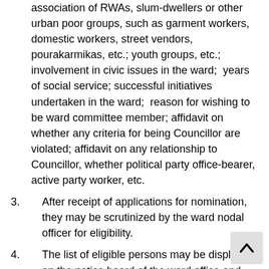association of RWAs, slum-dwellers or other urban poor groups, such as garment workers, domestic workers, street vendors, pourakarmikas, etc.; youth groups, etc.; involvement in civic issues in the ward;  years of social service; successful initiatives undertaken in the ward;  reason for wishing to be ward committee member; affidavit on whether any criteria for being Councillor are violated; affidavit on any relationship to Councillor, whether political party office-bearer, active party worker, etc.
3.  After receipt of applications for nomination, they may be scrutinized by the ward nodal officer for eligibility.
4. The list of eligible persons may be displayed on the notice board of the ward office and objections to the names called for from the public.